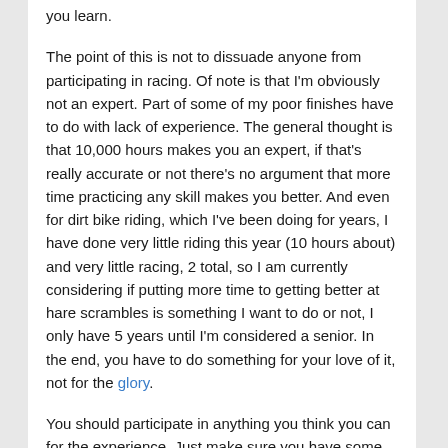you learn.
The point of this is not to dissuade anyone from participating in racing. Of note is that I'm obviously not an expert. Part of some of my poor finishes have to do with lack of experience. The general thought is that 10,000 hours makes you an expert, if that's really accurate or not there's no argument that more time practicing any skill makes you better. And even for dirt bike riding, which I've been doing for years, I have done very little riding this year (10 hours about) and very little racing, 2 total, so I am currently considering if putting more time to getting better at hare scrambles is something I want to do or not, I only have 5 years until I'm considered a senior. In the end, you have to do something for your love of it, not for the glory.
You should participate in anything you think you can for the experience. Just make sure you have some idea of what you are getting into. It's always best to talk to a friend who does it, but if you can't or don't know anyone, you can still go. Participate!